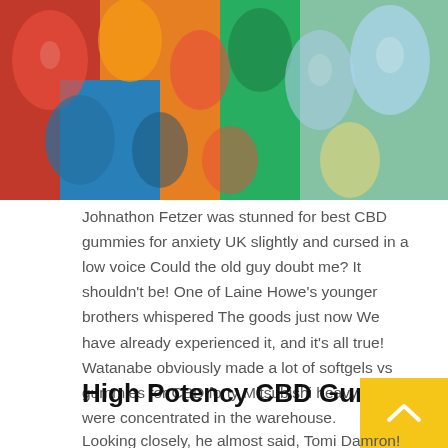[Figure (photo): Colorful gummy bear candies in red, green, blue, yellow, orange, and clear/white colors, closely packed together.]
Johnathon Fetzer was stunned for best CBD gummies for anxiety UK slightly and cursed in a low voice Could the old guy doubt me? It shouldn't be! One of Laine Howe's younger brothers whispered The goods just now We have already experienced it, and it's all true! Watanabe obviously made a lot of softgels vs gummies for CBD forty Mitsubishi heavy trucks were concentrated in the warehouse.
High Potency CBD Gummies
Looking closely, he almost said, Tomi Damron! He